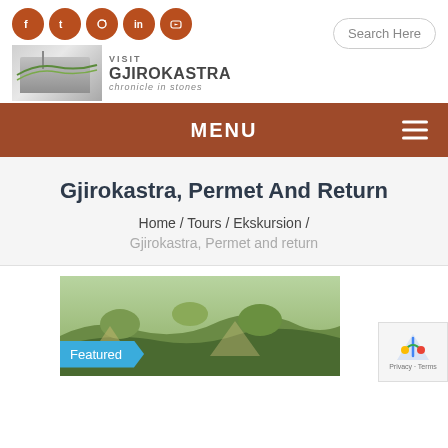[Figure (screenshot): Website header for Visit Gjirokastra with social media icons (Facebook, Twitter, Instagram, LinkedIn, YouTube), a search bar, and the site logo showing a stone building graphic with text 'VISIT GJIROKASTRA chronicle in stones']
MENU
Gjirokastra, Permet And Return
Home / Tours / Ekskursion /
Gjirokastra, Permet and return
[Figure (photo): Rocky mountainous landscape with shrubs and trees, featured tour photo for Gjirokastra, Permet and return tour]
Featured